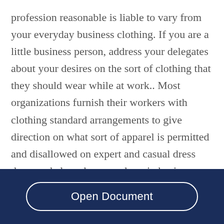profession reasonable is liable to vary from your everyday business clothing. If you are a little business person, address your delegates about your desires on the sort of clothing that they should wear while at work.. Most organizations furnish their workers with clothing standard arrangements to give direction on what sort of apparel is permitted and disallowed on expert and casual dress days, and also when you dress in business formal clothing, you are dressing to inspire, business
Open Document